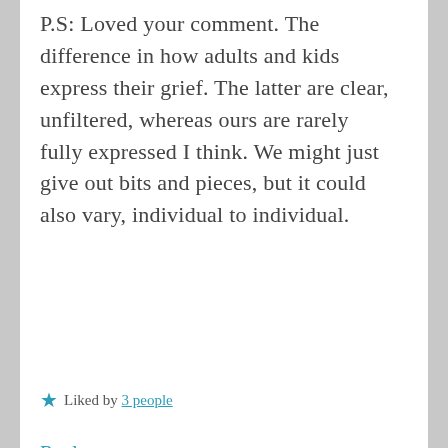P.S: Loved your comment. The difference in how adults and kids express their grief. The latter are clear, unfiltered, whereas ours are rarely fully expressed I think. We might just give out bits and pieces, but it could also vary, individual to individual.
★ Liked by 3 people
Reply
Privacy & Cookies: This site uses cookies. By continuing to use this website, you agree to their use.
To find out more, including how to control cookies, see here: Cookie Policy
Close and accept